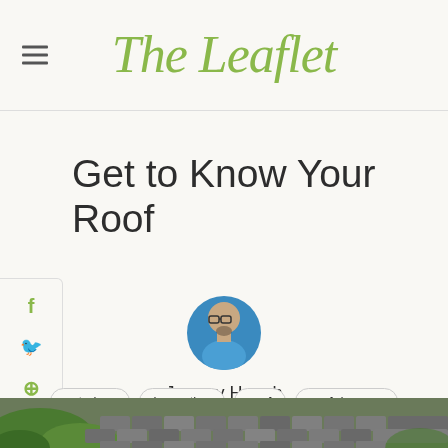The Leaflet
Get to Know Your Roof
Jeremy Hough
April 22, 2013
exteriors
home tips
roof
roof damage
weather damage
[Figure (photo): Roof shingles and greenery at the bottom of the page]